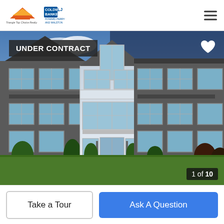Triangle Top Choice Realty | Coldwell Banker Howard Perry and Walston
[Figure (photo): Architectural rendering of a multi-unit townhouse/condo building with 'UNDER CONTRACT' badge overlay. Three-story townhomes with dark gray siding and white accents. Image counter '1 of 10' shown in bottom right.]
UNDER CONTRACT
1 of 10
Take a Tour
Ask A Question